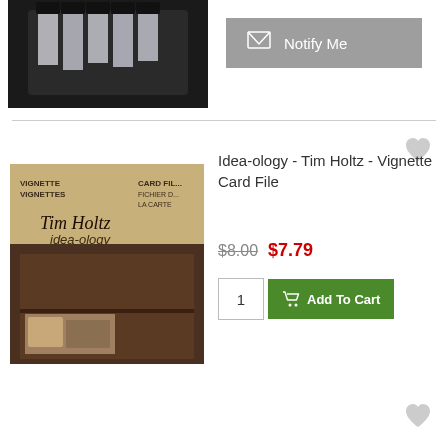[Figure (photo): Product image top - dark organizer with ribbon/bookmark tabs, partially visible]
[Figure (infographic): Notify Me button with envelope icon on grey background]
[Figure (photo): Idea-ology Tim Holtz Vignette Card File product image showing wooden card file organizer]
Idea-ology - Tim Holtz - Vignette Card File
$8.00  $7.79
1  Add To Cart